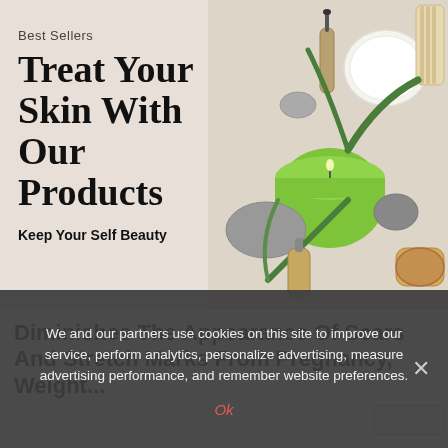[Figure (photo): Skin care product banner with cosmetics items including green candle, oil bottles, face cream, stones, palm leaves, a brush and sponge arranged on a beige background. Text overlay says 'Best Sellers' and 'Treat Your Skin With Our Products' and 'Keep Your Self Beauty'.]
Treat Your Skin With Our Products
Keep Your Self Beauty
Diminishes The Appearance Of Scars And Stretch Marks From Pregnancy, Weight...
We and our partners use cookies on this site to improve our service, perform analytics, personalize advertising, measure advertising performance, and remember website preferences.
Ok